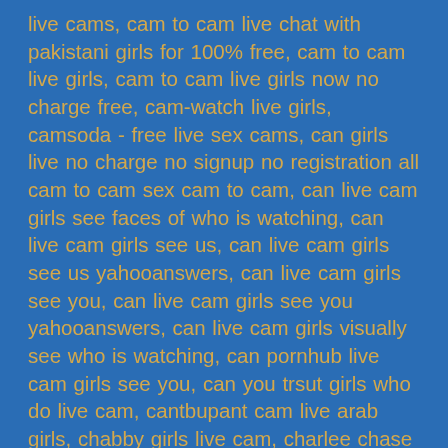live cams, cam to cam live chat with pakistani girls for 100% free, cam to cam live girls, cam to cam live girls now no charge free, cam-watch live girls, camsoda - free live sex cams, can girls live no charge no signup no registration all cam to cam sex cam to cam, can live cam girls see faces of who is watching, can live cam girls see us, can live cam girls see us yahooanswers, can live cam girls see you, can live cam girls see you yahooanswers, can live cam girls visually see who is watching, can pornhub live cam girls see you, can you trsut girls who do live cam, cantbupant cam live arab girls, chabby girls live cam, charlee chase chat live with real girls on the largest free xxx cam site. watch, chat cam girls live, chat girls live cam, chat live with real girls on the largest free xxx cam site. watch sex cams now., chatroulette